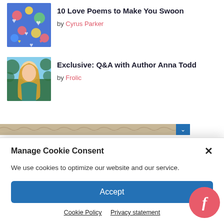10 Love Poems to Make You Swoon
by Cyrus Parker
[Figure (photo): Colorful illustration with hearts in various colors on a blue background]
Exclusive: Q&A with Author Anna Todd
by Frolic
[Figure (photo): Photo of a woman with long blonde hair wearing a teal top, outdoors]
[Figure (photo): Advertisement banner with marbled texture pattern and a blue chevron/dropdown button]
Manage Cookie Consent
We use cookies to optimize our website and our service.
Accept
Cookie Policy   Privacy statement
[Figure (logo): Frolic logo: red circle with white italic letter f]